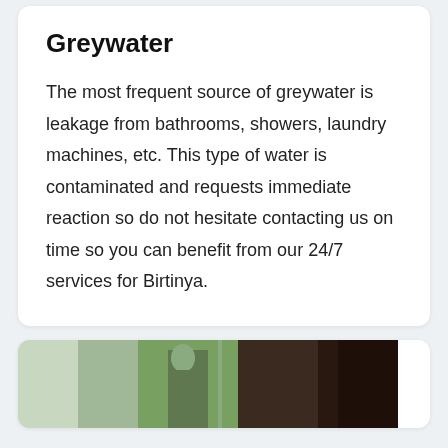Greywater
The most frequent source of greywater is leakage from bathrooms, showers, laundry machines, etc. This type of water is contaminated and requests immediate reaction so do not hesitate contacting us on time so you can benefit from our 24/7 services for Birtinya.
[Figure (photo): Photograph strip showing outdoor scene with figures and wooden surface]